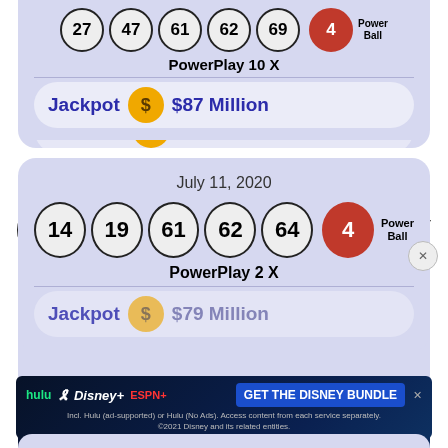[Figure (infographic): Partial Powerball lottery card showing numbers 27, 47, 61, 62, 69 and red Powerball 4, PowerPlay 10X, Jackpot $87 Million]
[Figure (infographic): Powerball lottery card for July 11, 2020 showing numbers 14, 19, 61, 62, 64 and red Powerball 4, PowerPlay 2X, Jackpot $79 Million]
[Figure (infographic): Disney Bundle advertisement banner with hulu, Disney+, ESPN+ logos and GET THE DISNEY BUNDLE CTA]
[Figure (infographic): Partial bottom card stub showing another lottery date]